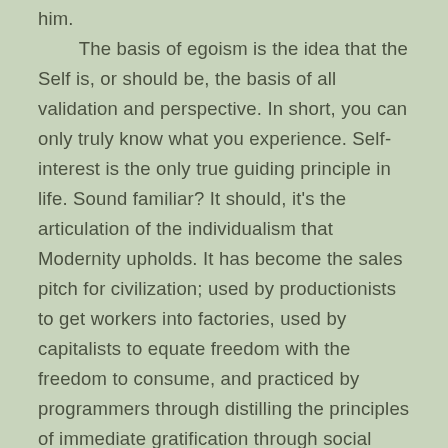him.

The basis of egoism is the idea that the Self is, or should be, the basis of all validation and perspective. In short, you can only truly know what you experience. Self-interest is the only true guiding principle in life. Sound familiar? It should, it's the articulation of the individualism that Modernity upholds. It has become the sales pitch for civilization; used by productionists to get workers into factories, used by capitalists to equate freedom with the freedom to consume, and practiced by programmers through distilling the principles of immediate gratification through social networks and personalized technology.